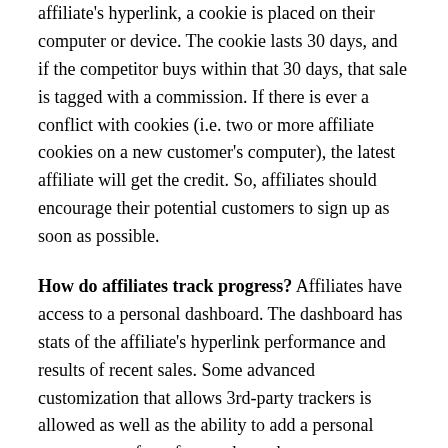affiliate's hyperlink, a cookie is placed on their computer or device. The cookie lasts 30 days, and if the competitor buys within that 30 days, that sale is tagged with a commission. If there is ever a conflict with cookies (i.e. two or more affiliate cookies on a new customer's computer), the latest affiliate will get the credit. So, affiliates should encourage their potential customers to sign up as soon as possible.
How do affiliates track progress? Affiliates have access to a personal dashboard. The dashboard has stats of the affiliate's hyperlink performance and results of recent sales. Some advanced customization that allows 3rd-party trackers is allowed as well as the ability to add a personal success page for referenced members.
How will affiliates get paid? Affiliates will need to set